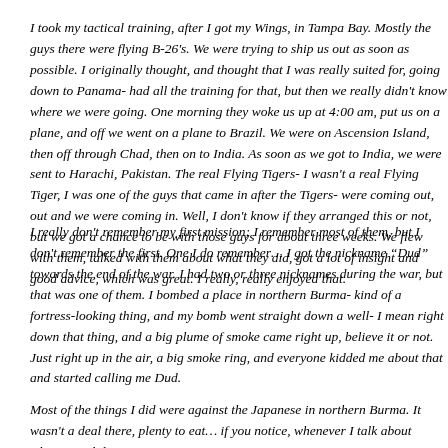I took my tactical training, after I got my Wings, in Tampa Bay. Mostly the guys there were flying B-26's. We were trying to ship us out as soon as possible. I originally thought, and thought that I was really suited for, going down to Panama- had all the training for that, but then we really didn't know where we were going. One morning they woke us up at 4:00 am, put us on a plane, and off we went on a plane to Brazil. We were on Ascension Island, then off through Chad, then on to India. As soon as we got to India, we were sent to Harachi, Pakistan. The real Flying Tigers- I wasn't a real Flying Tiger, I was one of the guys that came in after the Tigers- were coming out, out and we were coming in. Well, I don't know if they arranged this or not, but we got a chance to be with those guys for about three weeks. We flew with them, talked with them about what they did, got a lot of insight and good advice, which was great. I really, really enjoyed that.
I really don't remember my first mission; I remember most of them, but I don't remember the first. One I do remember… I got the nickname "Dud" towards the end of the war. I had two or three nicknames during the war, but that was one of them. I bombed a place in northern Burma- kind of a fortress-looking thing, and my bomb went straight down a well- I mean right down that thing, and a big plume of smoke came right up, believe it or not. Just right up in the air, a big smoke ring, and everyone kidded me about that and started calling me Dud.
Most of the things I did were against the Japanese in northern Burma. It wasn't a deal there, plenty to eat… if you notice, whenever I talk about China, we didn't…